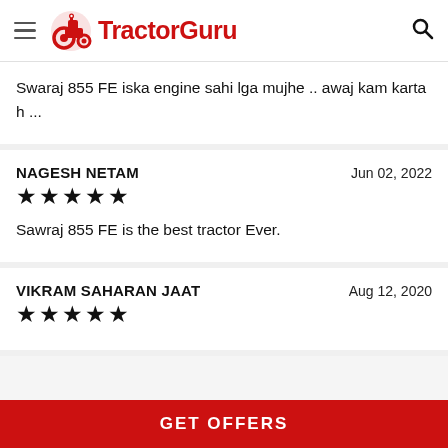TractorGuru
Swaraj 855 FE iska engine sahi lga mujhe .. awaj kam karta h ...
NAGESH NETAM | Jun 02, 2022 | ★★★★★ | Sawraj 855 FE is the best tractor Ever.
VIKRAM SAHARAN JAAT | Aug 12, 2020 | ★★★★★
GET OFFERS